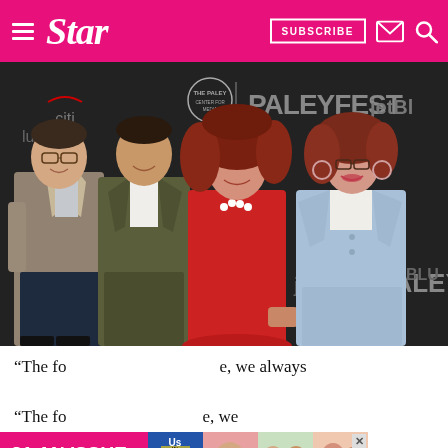Star — SUBSCRIBE
[Figure (photo): Four cast members of Will & Grace posing at PaleyFest event with Citi and JetBlue branding in background. From left: Sean Hayes in plaid blazer, Eric McCormack in olive suit, Debra Messing in red dress, Megan Mullally in light blue pantsuit.]
“The fo[ur of us, once we get toge]ther, we always[...”